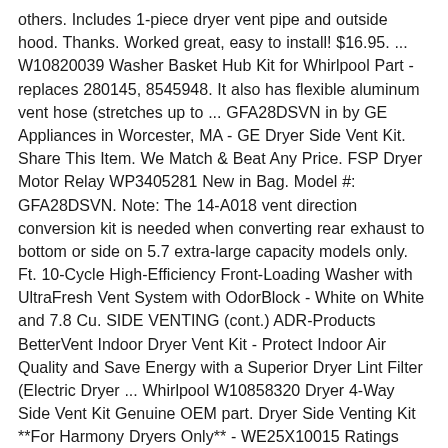others. Includes 1-piece dryer vent pipe and outside hood. Thanks. Worked great, easy to install! $16.95. ... W10820039 Washer Basket Hub Kit for Whirlpool Part - replaces 280145, 8545948. It also has flexible aluminum vent hose (stretches up to ... GFA28DSVN in by GE Appliances in Worcester, MA - GE Dryer Side Vent Kit. Share This Item. We Match & Beat Any Price. FSP Dryer Motor Relay WP3405281 New in Bag. Model #: GFA28DSVN. Note: The 14-A018 vent direction conversion kit is needed when converting rear exhaust to bottom or side on 5.7 extra-large capacity models only. Ft. 10-Cycle High-Efficiency Front-Loading Washer with UltraFresh Vent System with OdorBlock - White on White and 7.8 Cu. SIDE VENTING (cont.) ADR-Products BetterVent Indoor Dryer Vent Kit - Protect Indoor Air Quality and Save Energy with a Superior Dryer Lint Filter (Electric Dryer ... Whirlpool W10858320 Dryer 4-Way Side Vent Kit Genuine OEM part. Dryer Side Venting Kit **For Harmony Dryers Only** - WE25X10015 Ratings and Q&A. Inquire about: GE GE Dryer Side Vent Kit Required Information. Dryer Side Vent Kit WE16X29317. Product Description. Fits most major brands of electric and gas dryers. GE Dryer Duct Assembly Genuine OEM Part # WX08X10086 |